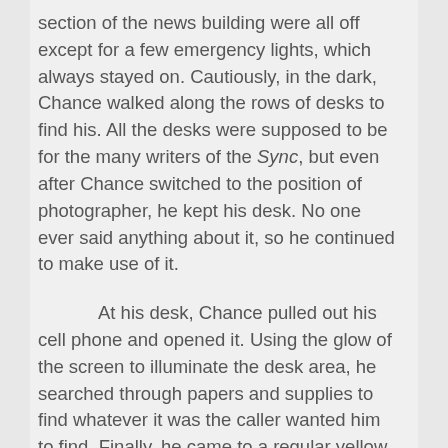section of the news building were all off except for a few emergency lights, which always stayed on. Cautiously, in the dark, Chance walked along the rows of desks to find his. All the desks were supposed to be for the many writers of the Sync, but even after Chance switched to the position of photographer, he kept his desk. No one ever said anything about it, so he continued to make use of it.

At his desk, Chance pulled out his cell phone and opened it. Using the glow of the screen to illuminate the desk area, he searched through papers and supplies to find whatever it was the caller wanted him to find. Finally, he came to a regular yellow Post-It note. Chance grabbed the note and then headed for the elevator.